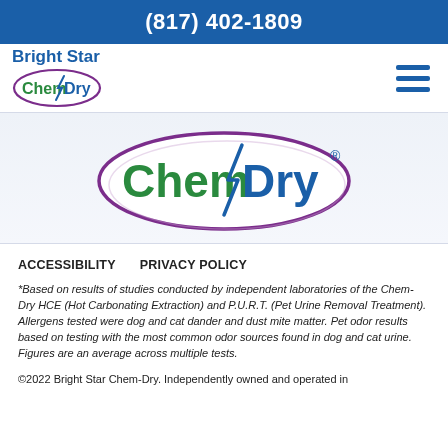(817) 402-1809
[Figure (logo): Bright Star Chem-Dry logo in header with small oval Chem-Dry branding]
[Figure (logo): Large Chem-Dry oval logo in hero banner area]
ACCESSIBILITY    PRIVACY POLICY
*Based on results of studies conducted by independent laboratories of the Chem-Dry HCE (Hot Carbonating Extraction) and P.U.R.T. (Pet Urine Removal Treatment). Allergens tested were dog and cat dander and dust mite matter. Pet odor results based on testing with the most common odor sources found in dog and cat urine. Figures are an average across multiple tests.
©2022 Bright Star Chem-Dry. Independently owned and operated in